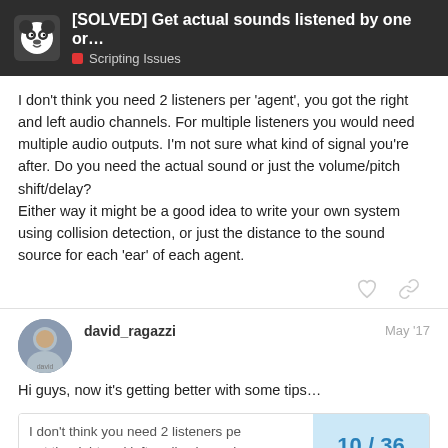[SOLVED] Get actual sounds listened by one or... | Scripting Issues
I don't think you need 2 listeners per 'agent', you got the right and left audio channels. For multiple listeners you would need multiple audio outputs. I'm not sure what kind of signal you're after. Do you need the actual sound or just the volume/pitch shift/delay?
Either way it might be a good idea to write your own system using collision detection, or just the distance to the sound source for each 'ear' of each agent.
david_ragazzi  May '17
Hi guys, now it's getting better with some tips…
I don't think you need 2 listeners pe… got the right and left audio channels  10 / 36